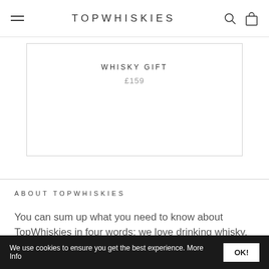TOPWHISKIES
WHISKY GIFT
£159
ABOUT TOPWHISKIES
You can sum up what you need to know about TopWhiskies in four words: we love drinking whisky.
We use cookies to ensure you get the best experience. More Info  OK!